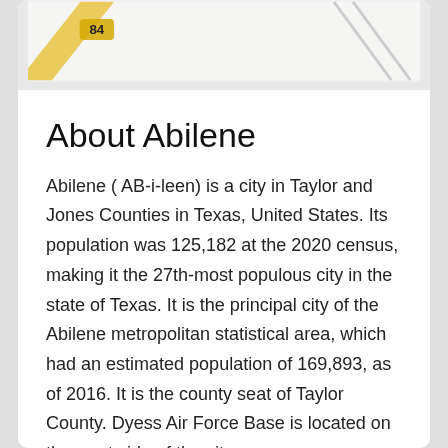[Figure (map): Partial map screenshot showing a road with label '84' on a diagonal yellow road line, and another road line visible on the right side.]
About Abilene
Abilene ( AB-i-leen) is a city in Taylor and Jones Counties in Texas, United States. Its population was 125,182 at the 2020 census, making it the 27th-most populous city in the state of Texas. It is the principal city of the Abilene metropolitan statistical area, which had an estimated population of 169,893, as of 2016. It is the county seat of Taylor County. Dyess Air Force Base is located on the west side of the city.